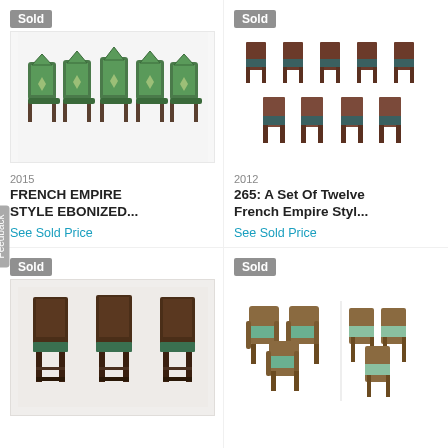[Figure (photo): Set of green upholstered French Empire style ebonized chairs with ornate carved backs, 'Sold' badge shown]
2015
FRENCH EMPIRE STYLE EBONIZED...
See Sold Price
[Figure (photo): Set of twelve French Empire style dark wood chairs with blue/green upholstered seats, arranged in two rows, 'Sold' badge shown]
2012
265: A Set Of Twelve French Empire Styl...
See Sold Price
[Figure (photo): Set of dark wood dining chairs with green patterned upholstered seats, 'Sold' badge shown]
[Figure (photo): Set of French Empire style chairs with light green upholstery including armchairs and side chairs, 'Sold' badge shown]